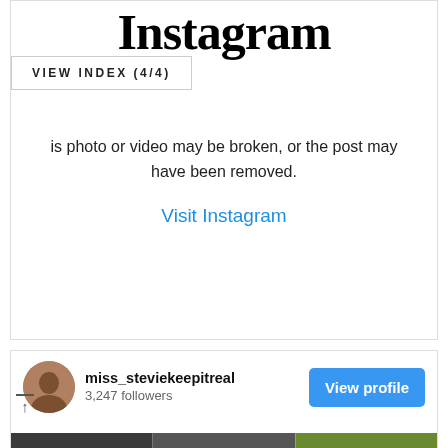[Figure (screenshot): Instagram logo at top of embedded post widget]
VIEW INDEX (4/4)
is photo or video may be broken, or the post may have been removed.
Visit Instagram
[Figure (screenshot): Instagram profile embed for miss_stevie keepitreal with 3,247 followers and View profile button]
[Figure (photo): Photo strip showing crowd scene and person in yellow-green jacket]